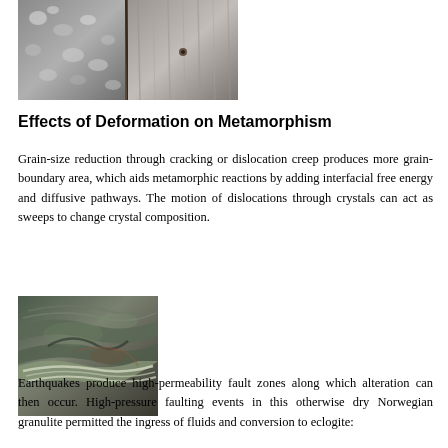[Figure (photo): Close-up photograph of metamorphic rock showing grain texture, two rock samples side by side with pale and dark minerals visible]
Effects of Deformation on Metamorphism
Grain-size reduction through cracking or dislocation creep produces more grain-boundary area, which aids metamorphic reactions by adding interfacial free energy and diffusive pathways. The motion of dislocations through crystals can act as sweeps to change crystal composition.
[Figure (photo): Close-up photograph of a folded and layered metamorphic rock (likely eclogite or Norwegian granulite) showing banded green, grey, and white minerals with visible deformation fabric]
Earthquakes produce high-permeability fault zones along which alteration can then occur. High-pressure faulting events in this otherwise dry Norwegian granulite permitted the ingress of fluids and conversion to eclogite: